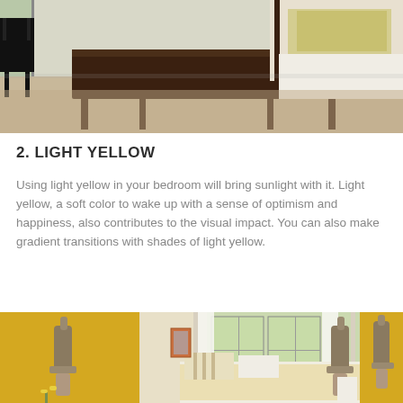[Figure (photo): A bedroom with a dark wooden bench/daybed at the foot of a bed, neutral beige carpet, white walls, and windows with natural light. Black chair visible on the left.]
2. LIGHT YELLOW
Using light yellow in your bedroom will bring sunlight with it. Light yellow, a soft color to wake up with a sense of optimism and happiness, also contributes to the visual impact. You can also make gradient transitions with shades of light yellow.
[Figure (photo): A bright yellow bedroom with a canopy bed dressed in white and yellow floral bedding, striped pillows, white curtains on large windows with green trees visible outside, and decorative wall sconces with sculptural figures on either side.]